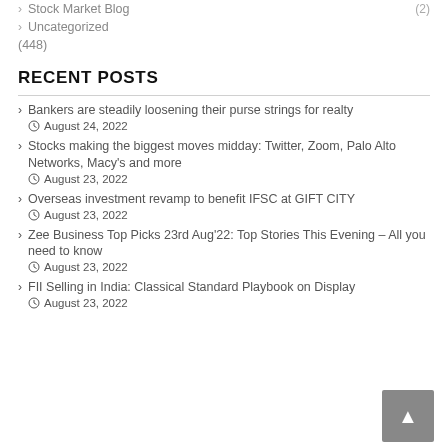Stock Market Blog (2)
Uncategorized
(448)
RECENT POSTS
Bankers are steadily loosening their purse strings for realty — August 24, 2022
Stocks making the biggest moves midday: Twitter, Zoom, Palo Alto Networks, Macy's and more — August 23, 2022
Overseas investment revamp to benefit IFSC at GIFT CITY — August 23, 2022
Zee Business Top Picks 23rd Aug'22: Top Stories This Evening – All you need to know — August 23, 2022
FII Selling in India: Classical Standard Playbook on Display — August 23, 2022